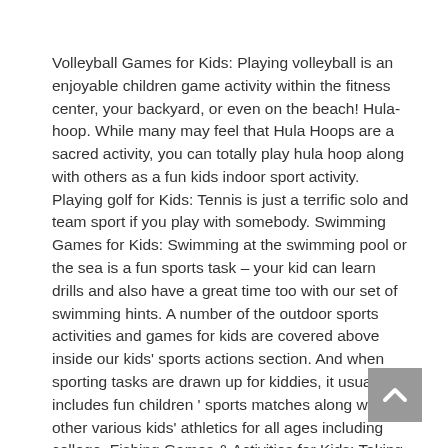Volleyball Games for Kids: Playing volleyball is an enjoyable children game activity within the fitness center, your backyard, or even on the beach! Hula-hoop. While many may feel that Hula Hoops are a sacred activity, you can totally play hula hoop along with others as a fun kids indoor sport activity. Playing golf for Kids: Tennis is just a terrific solo and team sport if you play with somebody. Swimming Games for Kids: Swimming at the swimming pool or the sea is a fun sports task – your kid can learn drills and also have a great time too with our set of swimming hints. A number of the outdoor sports activities and games for kids are covered above inside our kids' sports actions section. And when sporting tasks are drawn up for kiddies, it usually includes fun children ' sports matches along with other various kids' athletics for all ages including college. Fishing Games & Activities for Kids: Taking your kid fishing can be fun, particularly in case you have a few fun and educational fishing games prepared that your kid is sure to love!